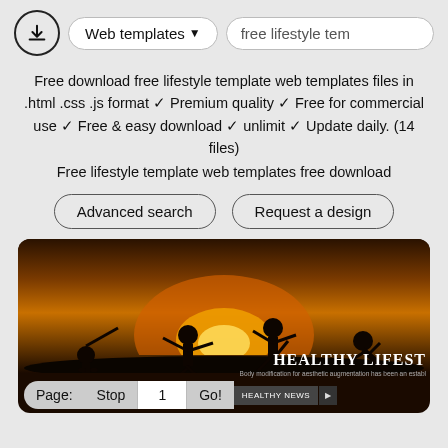[Figure (screenshot): Top navigation bar with download icon, 'Web templates' dropdown pill button, and 'free lifestyle tem' search pill]
Free download free lifestyle template web templates files in .html .css .js format ✓ Premium quality ✓ Free for commercial use ✓ Free & easy download ✓ unlimit ✓ Update daily. (14 files)
Free lifestyle template web templates free download
[Figure (screenshot): Two outline buttons: 'Advanced search' and 'Request a design']
[Figure (screenshot): Website preview of 'Healthy Lifestyle' template showing silhouettes of people exercising at sunset, pagination bar (Page: Stop 1 Go! HEALTHY NEWS), Welcome to Healthy Lifestyle text, Advance Search bar, social icons (Facebook, Twitter, Plus), and body text snippets]